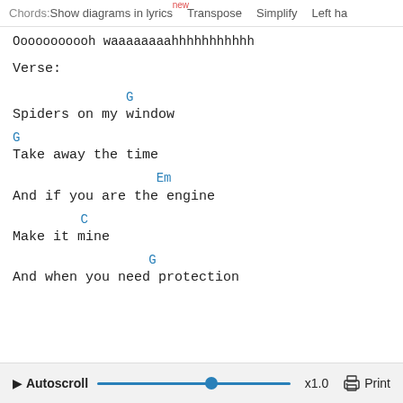Chords: Show diagrams in lyrics new Transpose Simplify Left ha
Ooooooooooh waaaaaaaahhhhhhhhhhh
Verse:
G
Spiders on my window
G
Take away the time
Em
And if you are the engine
C
Make it mine
G
And when you need protection
▶ Autoscroll x1.0 Print